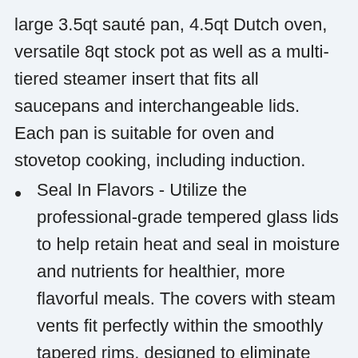large 3.5qt sauté pan, 4.5qt Dutch oven, versatile 8qt stock pot as well as a multi-tiered steamer insert that fits all saucepans and interchangeable lids. Each pan is suitable for oven and stovetop cooking, including induction.
Seal In Flavors - Utilize the professional-grade tempered glass lids to help retain heat and seal in moisture and nutrients for healthier, more flavorful meals. The covers with steam vents fit perfectly within the smoothly tapered rims, designed to eliminate drips and spills while pouring. Double riveted comfort grip handles provide extra strength and stay cooler for longer to help maneuver on the stove top.
Superior Quality With Mueller - We are here to offer you only the best quality products.